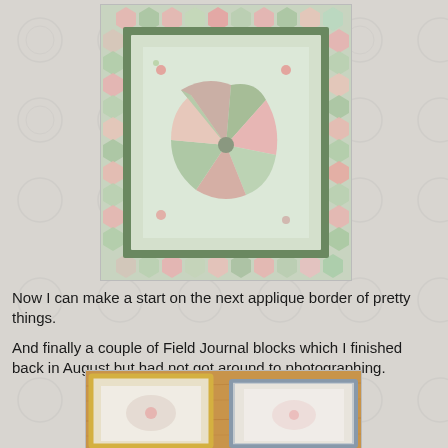[Figure (photo): A floral quilt with a central medallion design featuring a pinwheel pattern, surrounded by borders with hexagon patchwork pieces in pink, green, and red floral fabrics, laid on a white textured surface.]
Now I can make a start on the next applique border of pretty things.
And finally a couple of Field Journal blocks which I finished back in August but had not got around to photographing.
[Figure (photo): Two quilted fabric pieces with yellow and floral borders on a wooden table surface, partially visible at the bottom of the page.]